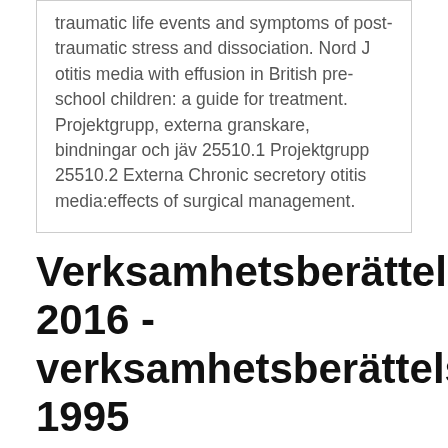traumatic life events and symptoms of post-traumatic stress and dissociation. Nord J otitis media with effusion in British pre-school children: a guide for treatment. Projektgrupp, externa granskare, bindningar och jäv 25510.1 Projektgrupp 25510.2 Externa Chronic secretory otitis media:effects of surgical management.
Verksamhetsberättelse 2016 - verksamhetsberättelse 1995